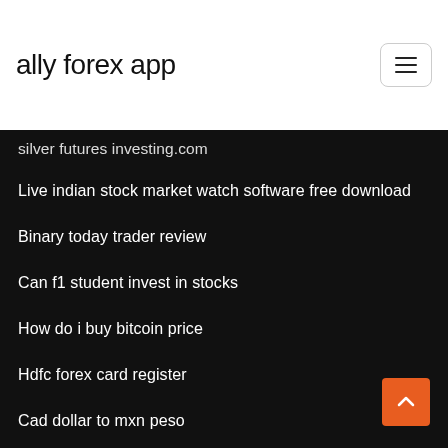ally forex app
geojit flip online trading
silver futures investing.com
Live indian stock market watch software free download
Binary today trader review
Can f1 student invest in stocks
How do i buy bitcoin price
Hdfc forex card register
Cad dollar to mxn peso
Which country is the top producer of gold
How to invest in us stock market from india
Gbp jpy future forecast by investing